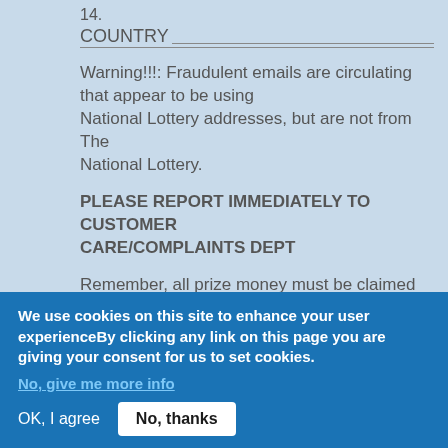14.
COUNTRY___________________________________________
Warning!!!: Fraudulent emails are circulating that appear to be using National Lottery addresses, but are not from The National Lottery.
PLEASE REPORT IMMEDIATELY TO CUSTOMER CARE/COMPLAINTS DEPT
Remember, all prize money must be claimed not later than ten days after notice. After this date, all funds will be returned as unclaimed.
We use cookies on this site to enhance your user experienceBy clicking any link on this page you are giving your consent for us to set cookies.
No, give me more info
OK, I agree
No, thanks